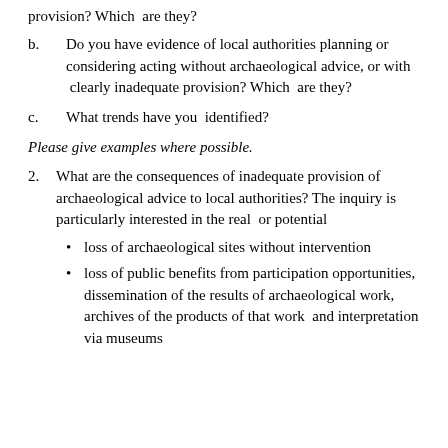provision? Which  are they?
b.    Do you have evidence of local authorities planning or considering acting without archaeological advice, or with  clearly inadequate provision? Which  are they?
c.    What trends have you  identified?
Please give examples where possible.
2.    What are the consequences of inadequate provision of archaeological advice to local authorities? The inquiry is particularly interested in the real  or potential
• loss of archaeological sites without intervention
• loss of public benefits from participation opportunities, dissemination of the results of archaeological work, archives of the products of that work  and interpretation via museums